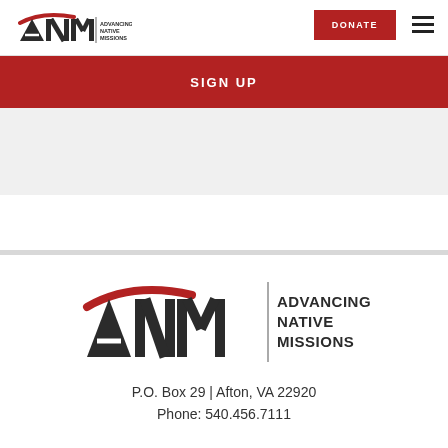[Figure (logo): ANM Advancing Native Missions logo in header (small version)]
DONATE
SIGN UP
[Figure (logo): ANM Advancing Native Missions logo large centered version]
P.O. Box 29 | Afton, VA 22920
Phone: 540.456.7111